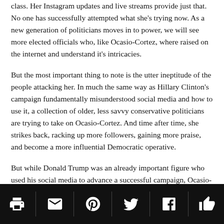class. Her Instagram updates and live streams provide just that. No one has successfully attempted what she's trying now. As a new generation of politicians moves in to power, we will see more elected officials who, like Ocasio-Cortez, where raised on the internet and understand it's intricacies.
But the most important thing to note is the utter ineptitude of the people attacking her. In much the same way as Hillary Clinton's campaign fundamentally misunderstood social media and how to use it, a collection of older, less savvy conservative politicians are trying to take on Ocasio-Cortez. And time after time, she strikes back, racking up more followers, gaining more praise, and become a more influential Democratic operative.
But while Donald Trump was an already important figure who used his social media to advance a successful campaign, Ocasio-Cortez has moved from the fringe to the mainstream mainly by virtue of her social media talent. Republicans have, in a sense, normalized and popularized the most radical Democrat in Congress by virtue of how ineffective their attacks on her have been.
[print] [email] [pinterest] [twitter] [facebook] [like]